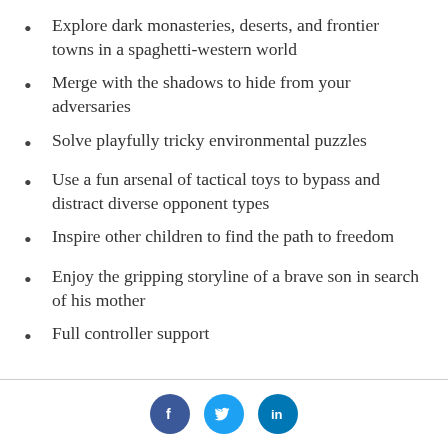Explore dark monasteries, deserts, and frontier towns in a spaghetti-western world
Merge with the shadows to hide from your adversaries
Solve playfully tricky environmental puzzles
Use a fun arsenal of tactical toys to bypass and distract diverse opponent types
Inspire other children to find the path to freedom
Enjoy the gripping storyline of a brave son in search of his mother
Full controller support
Social links: Facebook, Twitter, LinkedIn